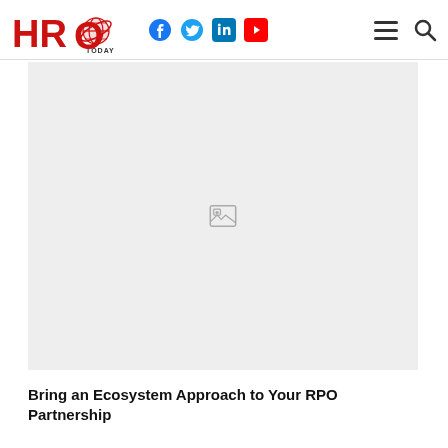HRO TODAY — Navigation header with social icons (Facebook, Twitter, LinkedIn, YouTube), hamburger menu, and search icon
[Figure (photo): Large image placeholder with broken image icon on light gray background]
Bring an Ecosystem Approach to Your RPO Partnership